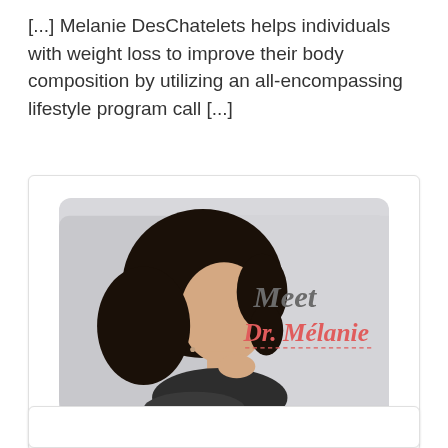[...] Melanie DesChatelets helps individuals with weight loss to improve their body composition by utilizing an all-encompassing lifestyle program call [...]
[Figure (photo): A woman with dark curly hair looking upward thoughtfully, with her hand near her chin. Overlaid text reads 'Meet Dr. Mélanie' in script font — gray 'Meet' and coral/red 'Dr. Mélanie' — with a dashed underline beneath.]